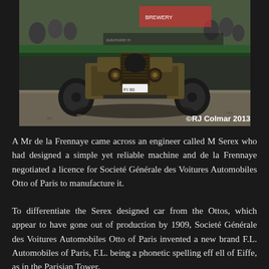[Figure (photo): Vintage early 1900s racing car on a track or road course, front view, dark/bronze colored open-wheel vehicle with large round headlamps, photographed at what appears to be a motorsport event with green barriers and spectators in background. License plate area visible. Copyright watermark: ©RJ Colmar 2013]
A Mr de la Frennaye came across an engineer called M Serex who had designed a simple yet reliable machine and de la Frennaye negotiated a licence for Societé Générale des Voitures Automobiles Otto of Paris to manufacture it.
To differentiate the Serex designed car from the Ottos, which appear to have gone out of production by 1909, Societé Générale des Voitures Automobiles Otto of Paris invented a new brand F.L. Automobiles of Paris, F.L. being a phonetic spelling eff ell of Eiffe, as in the Parisian Tower,